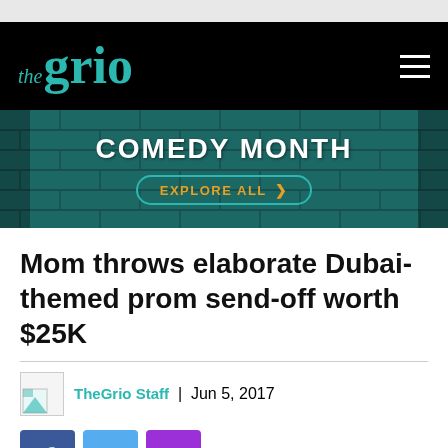the grio — navigation bar with hamburger menu
[Figure (infographic): Comedy Month promotional banner with teal/dark brick background, white bold text 'COMEDY MONTH', and a teal-outlined pill button labeled 'EXPLORE ALL >' in gold text]
Mom throws elaborate Dubai-themed prom send-off worth $25K
TheGrio Staff | Jun 5, 2017
[Figure (other): Social sharing buttons: Facebook (blue), Twitter (light blue), Email (purple)]